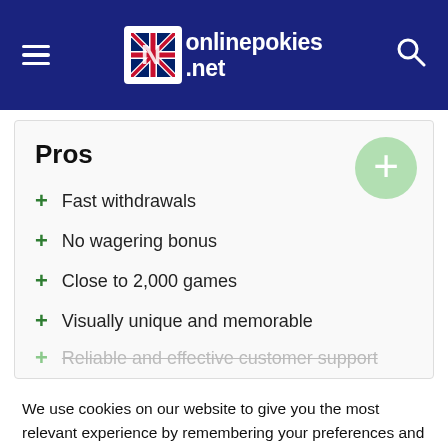onlinepokies.net
Pros
Fast withdrawals
No wagering bonus
Close to 2,000 games
Visually unique and memorable
Reliable and effective customer support
We use cookies on our website to give you the most relevant experience by remembering your preferences and repeat visits. By clicking “Accept”, you consent to the use of ALL the cookies.
Cookie settings | ACCEPT